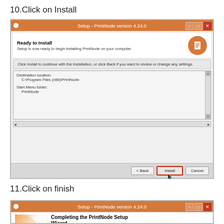10.Click on Install
[Figure (screenshot): Windows installer dialog for PrintNode version 4.24.0 showing 'Ready to Install' screen with destination location C:\Program Files (x86)\PrintNode and Start Menu folder PrintNode. The Install button is highlighted with a red border.]
11.Click on finish
[Figure (screenshot): Partial view of Windows installer dialog for PrintNode version 4.24.0 showing 'Completing the PrintNode Setup Wizard' screen.]